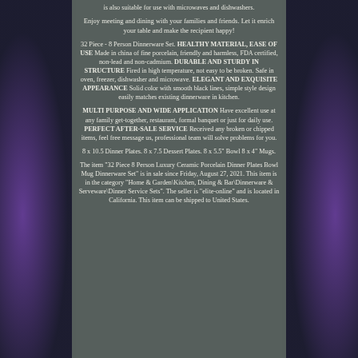is also suitable for use with microwaves and dishwashers.
Enjoy meeting and dining with your families and friends. Let it enrich your table and make the recipient happy!
32 Piece - 8 Person Dinnerware Set. HEALTHY MATERIAL, EASE OF USE Made in china of fine porcelain, friendly and harmless, FDA certified, non-lead and non-cadmium. DURABLE AND STURDY IN STRUCTURE Fired in high temperature, not easy to be broken. Safe in oven, freezer, dishwasher and microwave. ELEGANT AND EXQUISITE APPEARANCE Solid color with smooth black lines, simple style design easily matches existing dinnerware in kitchen.
MULTI PURPOSE AND WIDE APPLICATION Have excellent use at any family get-together, restaurant, formal banquet or just for daily use. PERFECT AFTER-SALE SERVICE Received any broken or chipped items, feel free message us, professional team will solve problems for you.
8 x 10.5 Dinner Plates. 8 x 7.5 Dessert Plates. 8 x 5.5" Bowl 8 x 4" Mugs.
The item "32 Piece 8 Person Luxury Ceramic Porcelain Dinner Plates Bowl Mug Dinnerware Set" is in sale since Friday, August 27, 2021. This item is in the category "Home & Garden\Kitchen, Dining & Bar\Dinnerware & Serveware\Dinner Service Sets". The seller is "elite-online" and is located in California. This item can be shipped to United States.